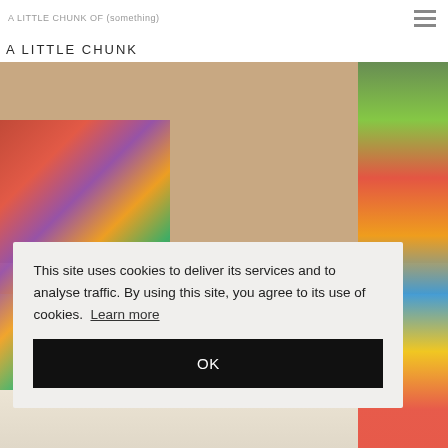A LITTLE CHUNK OF (something)
A LITTLE CHUNK
[Figure (photo): Close-up photograph of a person's legs wearing a floral outfit, with colorful items visible in the background]
This site uses cookies to deliver its services and to analyse traffic. By using this site, you agree to its use of cookies.  Learn more
OK